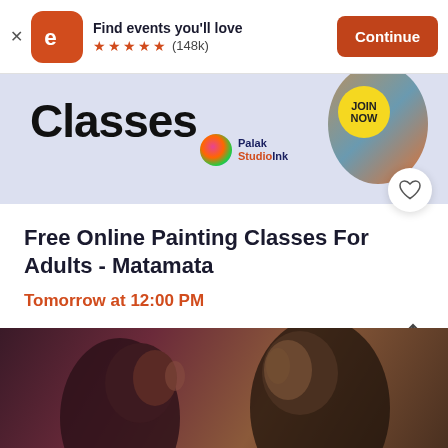[Figure (screenshot): Eventbrite app banner with orange rounded square logo showing letter e, app title 'Find events you'll love', 5 orange stars and (148k) rating, and orange Continue button]
[Figure (photo): Painting classes promotional banner for Palak StudioInk showing 'Classes' text in large bold font, Palak StudioInk logo, circular photo of art supplies, and JOIN NOW badge]
Free Online Painting Classes For Adults - Matamata
Tomorrow at 12:00 PM
Palak StudioInk • Matamata, Waikato
[Figure (photo): Close-up photo of two people facing each other, dark moody tones, partially visible at bottom of page]